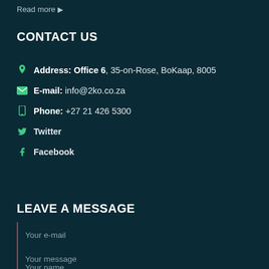Read more →
CONTACT US
Address: Office 6, 35-on-Rose, BoKaap, 8005
E-mail: info@2ko.co.za
Phone: +27 21 426 5300
Twitter
Facebook
LEAVE A MESSAGE
Your e-mail
Your name
Your message